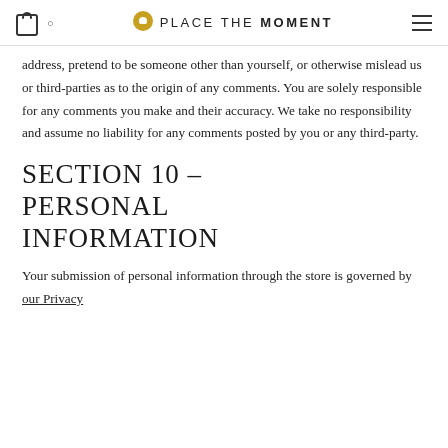PLACE THE MOMENT
address, pretend to be someone other than yourself, or otherwise mislead us or third-parties as to the origin of any comments. You are solely responsible for any comments you make and their accuracy. We take no responsibility and assume no liability for any comments posted by you or any third-party.
SECTION 10 – PERSONAL INFORMATION
Your submission of personal information through the store is governed by our Privacy